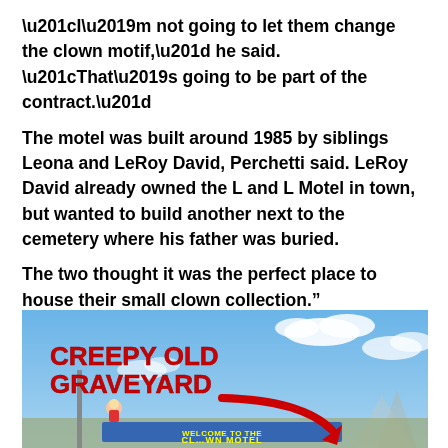“I’m not going to let them change the clown motif,” he said. “That’s going to be part of the contract.”
The motel was built around 1985 by siblings Leona and LeRoy David, Perchetti said. LeRoy David already owned the L and L Motel in town, but wanted to build another next to the cemetery where his father was buried.
The two thought it was the perfect place to house their small clown collection.”
[Figure (photo): Outdoor photo with a blue sky and clouds background showing a motel sign reading 'WELCOME TO THE CLOWN MOTEL', with a large red text annotation 'CREEPY OLD GRAVEYARD' and a red arrow pointing downward toward the motel sign. A clown figure is visible near the sign.]